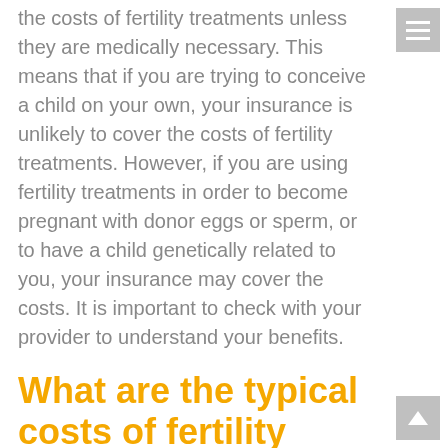the costs of fertility treatments unless they are medically necessary. This means that if you are trying to conceive a child on your own, your insurance is unlikely to cover the costs of fertility treatments. However, if you are using fertility treatments in order to become pregnant with donor eggs or sperm, or to have a child genetically related to you, your insurance may cover the costs. It is important to check with your provider to understand your benefits.
What are the typical costs of fertility treatment?
The typical costs of fertility treatments can